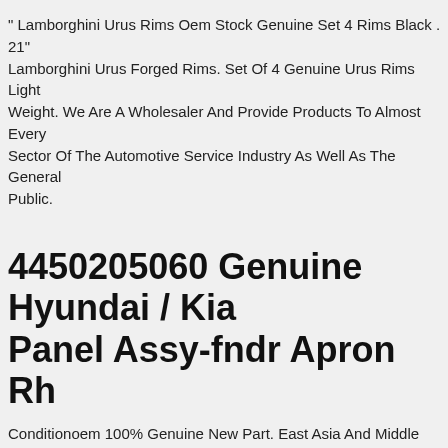" Lamborghini Urus Rims Oem Stock Genuine Set 4 Rims Black . 21" Lamborghini Urus Forged Rims. Set Of 4 Genuine Urus Rims Light Weight. We Are A Wholesaler And Provide Products To Almost Every Sector Of The Automotive Service Industry As Well As The General Public.
4450205060 Genuine Hyundai / Kia Panel Assy-fndr Apron Rh
Conditionoem 100% Genuine New Part. East Asia And Middle East -. Santro 99(india Plant-india). Santro 06(india Plant-india) Jan.2007-. Santro 06(india Plant-india) -dec.2006. Santro 00(india Palnt-gex).
2016 2017 2018 Lexus Rx200t Rx450h Genuine Japan Jdm Front Lip Under Spoiler Vip. Front Under Lip Spoiler Painted. 2016-2018 Lexus Rx200trx450h Parts. Silver Factory Lexus Japan Painted. 1 Lip Under Spoiler. 2016-2018 Lexus Rx200trx450h. Jzs International Japan . Not Include The Front Bumper Use Original Non F-sport (regular Bumper)